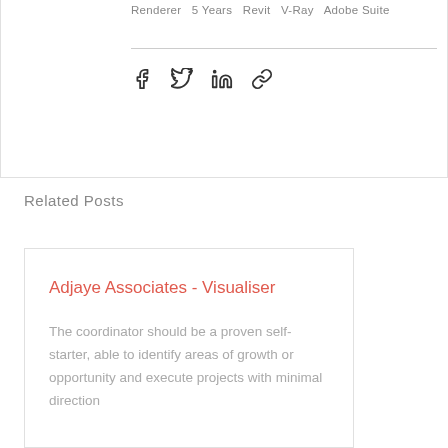Renderer  5 Years  Revit  V-Ray  Adobe Suite
[Figure (other): Social share icons: Facebook, Twitter, LinkedIn, link/chain]
Related Posts
Adjaye Associates - Visualiser
The coordinator should be a proven self-starter, able to identify areas of growth or opportunity and execute projects with minimal direction